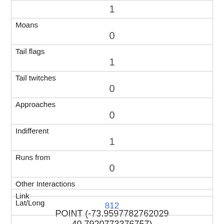| 1 |
| Moans | 0 |
| Tail flags | 1 |
| Tail twitches | 0 |
| Approaches | 0 |
| Indifferent | 1 |
| Runs from | 0 |
| Other Interactions |  |
| Lat/Long | POINT (-73.9597782762029 40.7920773376757) |
| Link | 812 |